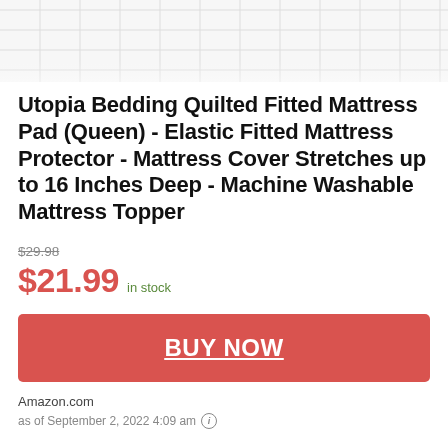[Figure (photo): Product image of a quilted white mattress pad/protector, showing a close-up of the quilted fabric texture with a grid pattern of stitched squares on a white background.]
Utopia Bedding Quilted Fitted Mattress Pad (Queen) - Elastic Fitted Mattress Protector - Mattress Cover Stretches up to 16 Inches Deep - Machine Washable Mattress Topper
$29.98
$21.99 in stock
BUY NOW
Amazon.com
as of September 2, 2022 4:09 am (i)